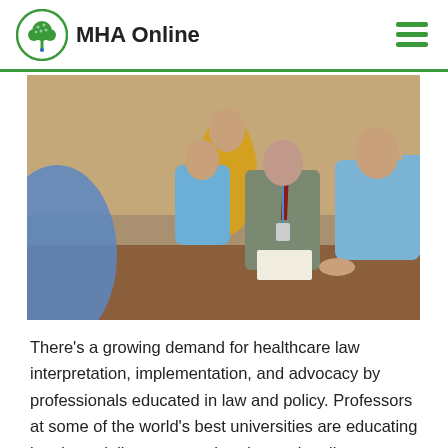MHA Online
[Figure (photo): Group of healthcare professionals in scrubs and a man in a suit with a tie and lanyard sitting around a table in a meeting, with a woman in the background holding a phone.]
There's a growing demand for healthcare law interpretation, implementation, and advocacy by professionals educated in law and policy. Professors at some of the world's best universities are educating legal specialists to meet that demand, online.